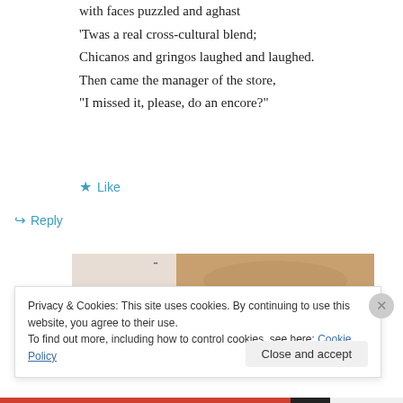with faces puzzled and aghast
'Twas a real cross-cultural blend;
Chicanos and gringos laughed and laughed.
Then came the manager of the store,
"I missed it, please, do an encore?"
★ Like
↪ Reply
[Figure (photo): Partial view of a person's hands holding a white card or phone, with warm brown background tones and a beige folder/paper on the left side.]
Privacy & Cookies: This site uses cookies. By continuing to use this website, you agree to their use.
To find out more, including how to control cookies, see here: Cookie Policy
Close and accept